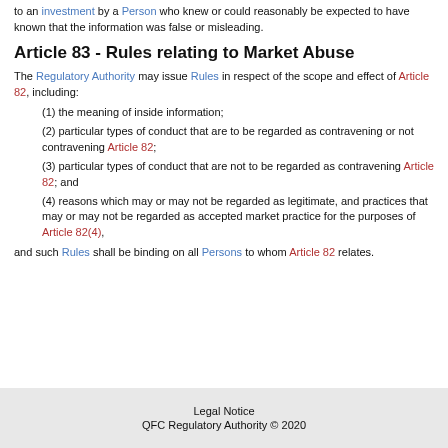to an investment by a Person who knew or could reasonably be expected to have known that the information was false or misleading.
Article 83 - Rules relating to Market Abuse
The Regulatory Authority may issue Rules in respect of the scope and effect of Article 82, including:
(1) the meaning of inside information;
(2) particular types of conduct that are to be regarded as contravening or not contravening Article 82;
(3) particular types of conduct that are not to be regarded as contravening Article 82; and
(4) reasons which may or may not be regarded as legitimate, and practices that may or may not be regarded as accepted market practice for the purposes of Article 82(4),
and such Rules shall be binding on all Persons to whom Article 82 relates.
Legal Notice
QFC Regulatory Authority © 2020